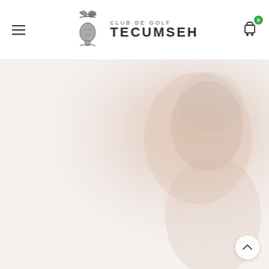Club de Golf Tecumseh — navigation header with hamburger menu and cart icon
[Figure (photo): Large hero image showing a blurred close-up of a person (likely a woman) with a light, warm-toned background — appears to be a lifestyle/marketing photo for Club de Golf Tecumseh]